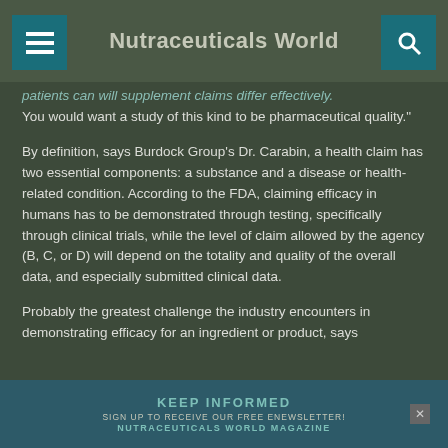Nutraceuticals World
patients can win. supplement claims differ effectively. You would want a study of this kind to be pharmaceutical quality."
By definition, says Burdock Group's Dr. Carabin, a health claim has two essential components: a substance and a disease or health-related condition. According to the FDA, claiming efficacy in humans has to be demonstrated through testing, specifically through clinical trials, while the level of claim allowed by the agency (B, C, or D) will depend on the totality and quality of the overall data, and especially submitted clinical data.
Probably the greatest challenge the industry encounters in demonstrating efficacy for an ingredient or product, says
[Figure (screenshot): Advertisement banner: KEEP INFORMED / SIGN UP TO RECEIVE OUR FREE ENEWSLETTER! / NUTRACEUTICALS WORLD MAGAZINE with close button]